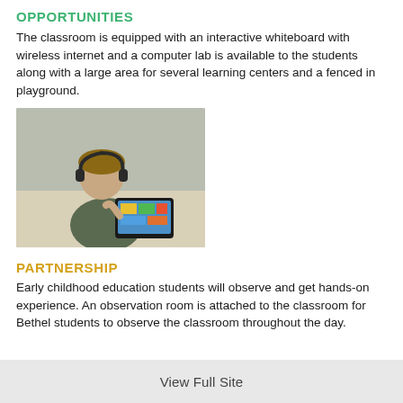OPPORTUNITIES
The classroom is equipped with an interactive whiteboard with wireless internet and a computer lab is available to the students along with a large area for several learning centers and a fenced in playground.
[Figure (photo): A child wearing headphones looking at a tablet device on a desk in a classroom setting.]
PARTNERSHIP
Early childhood education students will observe and get hands-on experience. An observation room is attached to the classroom for Bethel students to observe the classroom throughout the day.
View Full Site